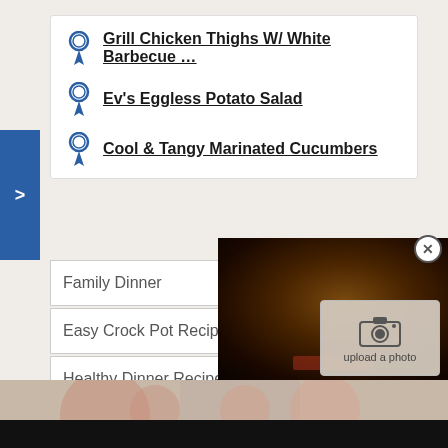Grill Chicken Thighs W/ White Barbecue …
Ev's Eggless Potato Salad
Cool & Tangy Marinated Cucumbers
Family Dinner
Easy Crock Pot Recipes
Healthy Dinner Recipes
[Figure (screenshot): Food photo with upload a photo overlay button]
[Figure (photo): Left bottom photo thumbnail area with abstract circles]